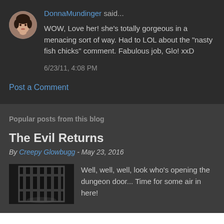DonnaMundinger said...
WOW, Love her! she's totally gorgeous in a menacing sort of way. Had to LOL about the "nasty fish chicks" comment. Fabulous job, Glo! xxD
6/23/11, 4:08 PM
Post a Comment
Popular posts from this blog
The Evil Returns
By Creepy Glowbugg - May 23, 2016
[Figure (photo): Dungeon door - dark image of large metal gate/bars in a stone corridor]
Well, well, well, look who's opening the dungeon door... Time for some air in here!